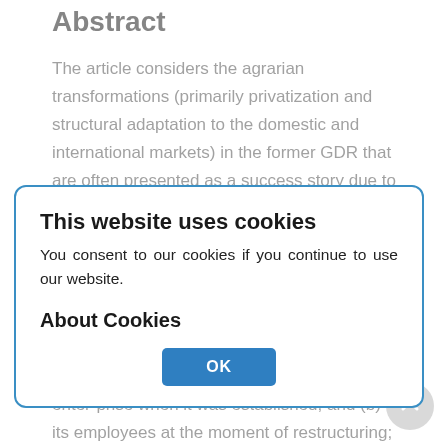Abstract
The article considers the agrarian transformations (primarily privatization and structural adaptation to the domestic and international markets) in the former GDR that are often presented as a success story due to the growing (inter)national productivity and competitiveness of new types of agricultural en-terprises. First, the article outlines the main tasks of these transformations: (1) privatization of the "socialist property" and its distribution between (a) those who contributed capital and land to the agricultural enter-prise when it was established, and (b) its employees at the moment of restructuring; (2) adaptation to new
This website uses cookies
You consent to our cookies if you continue to use our website.

About Cookies

OK